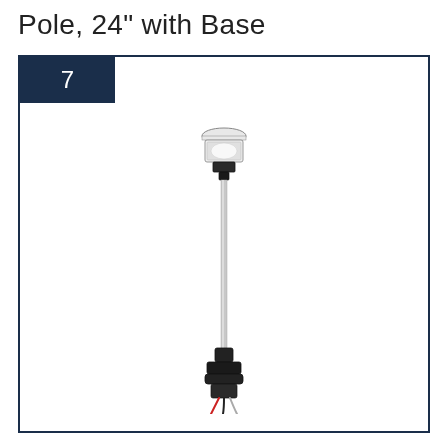Pole, 24" with Base
[Figure (illustration): A 24-inch navigation light pole with base. The pole is a slim metallic rod with a white all-round navigation light lamp head at the top and a black mounting base with wiring at the bottom.]